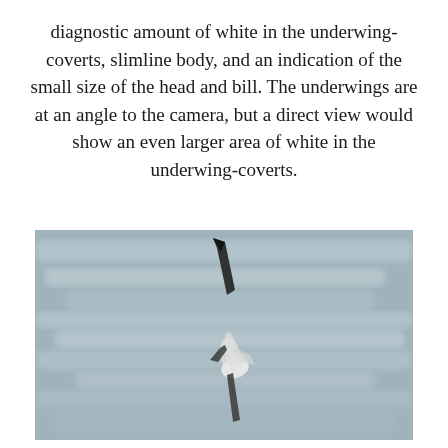diagnostic amount of white in the underwing-coverts, slimline body, and an indication of the small size of the head and bill. The underwings are at an angle to the camera, but a direct view would show an even larger area of white in the underwing-coverts.
[Figure (photo): A seabird (likely a shearwater or similar species) photographed from below/behind as it soars upward, showing dark upper wing and white underside, against a blurred grey sky or sea background.]